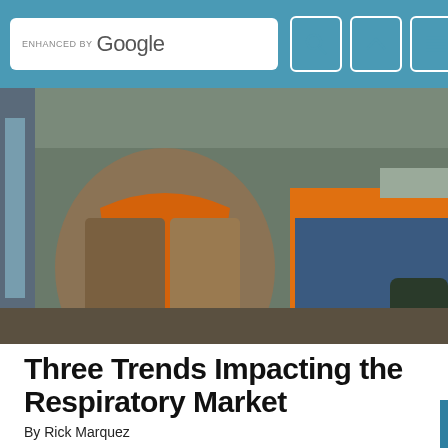ENHANCED BY Google
[Figure (photo): Two industrial workers in protective gear and orange high-visibility clothing working in a factory or industrial setting]
Three Trends Impacting the Respiratory Market
By Rick Marquez
New and innovative PAPR products are increasing user acceptance and protecting workers better.
[Figure (photo): Silhouette of a worker against a blue sky background, working on a structure]